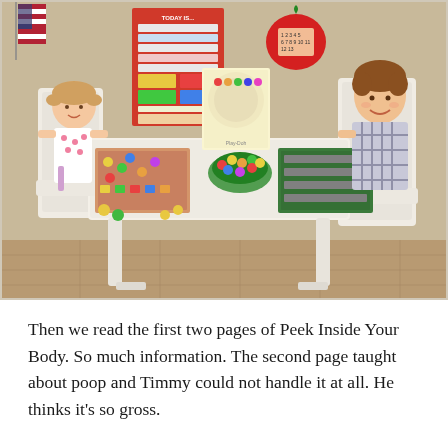[Figure (photo): Two young children sitting at a small white table doing activities. A girl with pigtails sits on the left in a white dress, and a smiling boy sits on the right in a plaid shirt. The table has colorful Play-Doh pieces, activity mats, and a Play-Doh box. On the wall behind them is a red educational calendar poster reading 'TODAY IS...' and a red apple-shaped number decoration. An American flag is visible in the upper left.]
Then we read the first two pages of Peek Inside Your Body. So much information. The second page taught about poop and Timmy could not handle it at all. He thinks it's so gross.